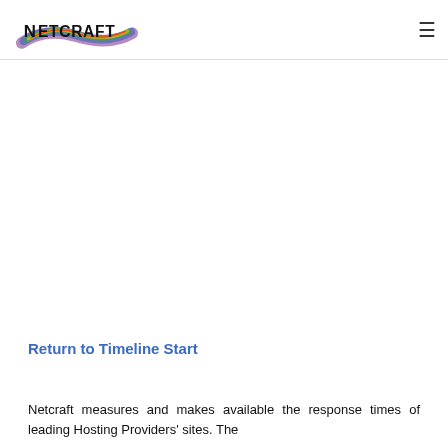Netcraft [logo] [hamburger menu]
[Figure (logo): Netcraft logo with rainbow brushstroke behind stylized text reading NETCRAFT]
Return to Timeline Start
Netcraft measures and makes available the response times of leading Hosting Providers' sites. The